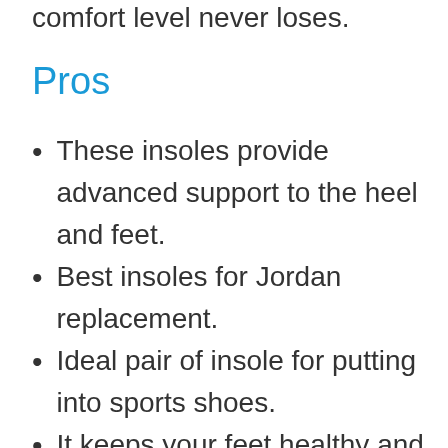comfort level never loses.
Pros
These insoles provide advanced support to the heel and feet.
Best insoles for Jordan replacement.
Ideal pair of insole for putting into sports shoes.
It keeps your feet healthy and active to get the best working